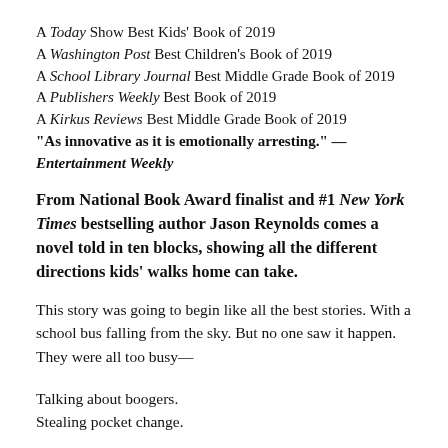A Today Show Best Kids' Book of 2019
A Washington Post Best Children's Book of 2019
A School Library Journal Best Middle Grade Book of 2019
A Publishers Weekly Best Book of 2019
A Kirkus Reviews Best Middle Grade Book of 2019
“As innovative as it is emotionally arresting.” — Entertainment Weekly
From National Book Award finalist and #1 New York Times bestselling author Jason Reynolds comes a novel told in ten blocks, showing all the different directions kids’ walks home can take.
This story was going to begin like all the best stories. With a school bus falling from the sky. But no one saw it happen. They were all too busy—
Talking about boogers.
Stealing pocket change.